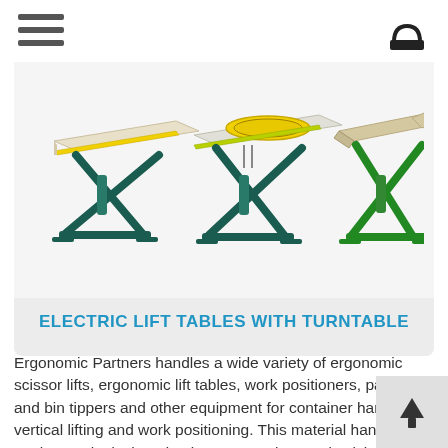Navigation bar with hamburger menu and cart icon
[Figure (photo): Three green scissor lift tables with turntables: left unit has a flat beige/cream top with yellow edge trim, center unit has a yellow circular turntable on top, right unit has a beige/tan folded top. All have dark green X-shaped scissor lift frames.]
ELECTRIC LIFT TABLES WITH TURNTABLE
Ergonomic Partners handles a wide variety of ergonomic scissor lifts, ergonomic lift tables, work positioners, pallet and bin tippers and other equipment for container handling, vertical lifting and work positioning. This material handling equipment is designed to improve worker productivity while reducing the potential for workplace injuries.